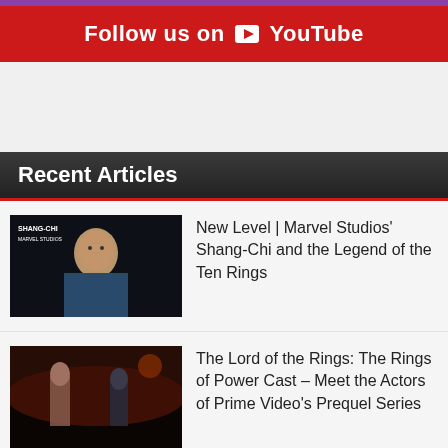Follow us on YouTube
Recent Articles
New Level | Marvel Studios' Shang-Chi and the Legend of the Ten Rings
The Lord of the Rings: The Rings of Power Cast – Meet the Actors of Prime Video's Prequel Series
Halo Infinite Developers Cancel Promised Legacy Feature